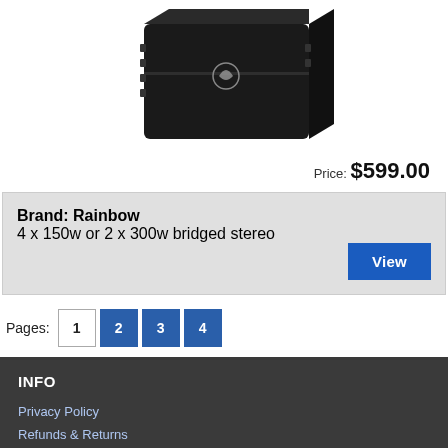[Figure (photo): Black car amplifier product photo centered on white background]
Price: $599.00
Brand: Rainbow
4 x 150w or 2 x 300w bridged stereo
Pages: 1 2 3 4
INFO
Privacy Policy
Refunds & Returns